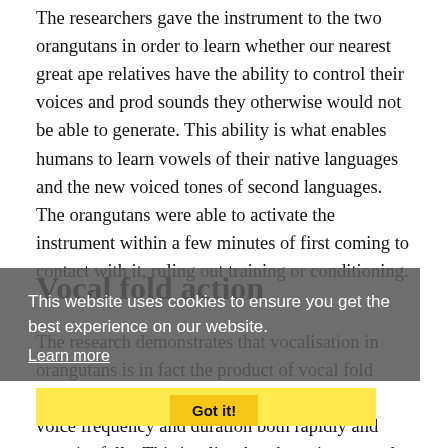The researchers gave the instrument to the two orangutans in order to learn whether our nearest great ape relatives have the ability to control their voices and prod sounds they otherwise would not be able to generate. This ability is what enables humans to learn vowels of their native languages and the new voiced tones of second languages. The orangutans were able to activate the instrument within a few minutes of first coming to contact with it, ruling out training or conditioning.
Vocal fold action
The research demonstrates that vocalisation in orangutans is in fact the product of vocal fold action and the species has the ability to adjust voice frequency and duration both rapidly and meaningfully. This implies that the voice control displayed by great apes is different in the degree to which